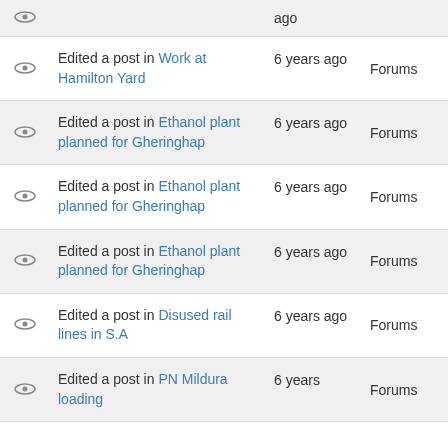|  | Activity | Time | Category |
| --- | --- | --- | --- |
|  | ago |  |  |
|  | Edited a post in Work at Hamilton Yard | 6 years ago | Forums |
|  | Edited a post in Ethanol plant planned for Gheringhap | 6 years ago | Forums |
|  | Edited a post in Ethanol plant planned for Gheringhap | 6 years ago | Forums |
|  | Edited a post in Ethanol plant planned for Gheringhap | 6 years ago | Forums |
|  | Edited a post in Disused rail lines in S.A | 6 years ago | Forums |
|  | Edited a post in PN Mildura loading | 6 years | Forums |